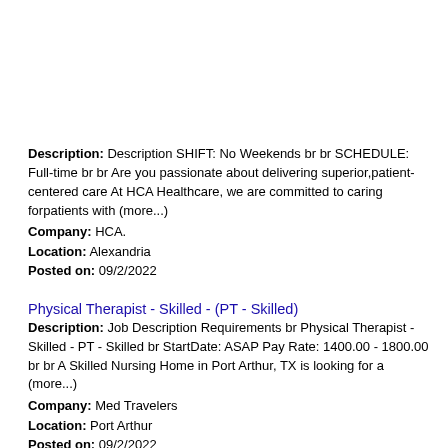Description: Description SHIFT: No Weekends br br SCHEDULE: Full-time br br Are you passionate about delivering superior,patient-centered care At HCA Healthcare, we are committed to caring forpatients with (more...)
Company: HCA.
Location: Alexandria
Posted on: 09/2/2022
Physical Therapist - Skilled - (PT - Skilled)
Description: Job Description Requirements br Physical Therapist - Skilled - PT - Skilled br StartDate: ASAP Pay Rate: 1400.00 - 1800.00 br br A Skilled Nursing Home in Port Arthur, TX is looking for a (more...)
Company: Med Travelers
Location: Port Arthur
Posted on: 09/2/2022
Salary in Lake Charles, Louisiana Area | More details for